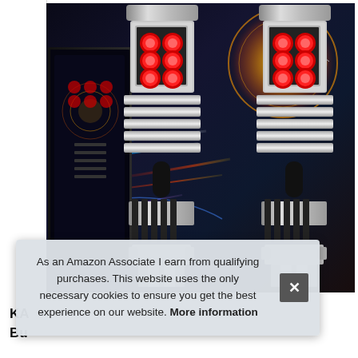[Figure (photo): Two red LED automotive bulbs (T15/921 style) with 6 red LEDs each arranged in 2x3 grid pattern, silver/aluminum heat sink bodies with ribbed design and wedge base connectors. Background shows dark blue/black with speedometer graphics and orange glowing circle. Left side shows product packaging box. Image appears to be an Amazon product listing photo.]
As an Amazon Associate I earn from qualifying purchases. This website uses the only necessary cookies to ensure you get the best experience on our website. More information
KA… Bu…